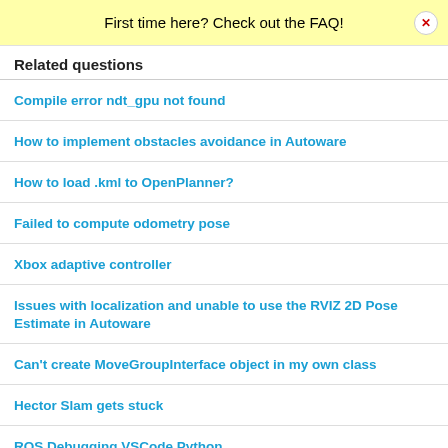First time here? Check out the FAQ!
Related questions
Compile error ndt_gpu not found
How to implement obstacles avoidance in Autoware
How to load .kml to OpenPlanner?
Failed to compute odometry pose
Xbox adaptive controller
Issues with localization and unable to use the RVIZ 2D Pose Estimate in Autoware
Can't create MoveGroupInterface object in my own class
Hector Slam gets stuck
ROS Debugging VSCode Python
Maintain/keep all the PointCloud2 in Rviz